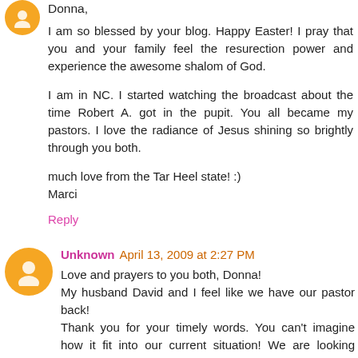Donna,
I am so blessed by your blog. Happy Easter! I pray that you and your family feel the resurection power and experience the awesome shalom of God.
I am in NC. I started watching the broadcast about the time Robert A. got in the pupit. You all became my pastors. I love the radiance of Jesus shining so brightly through you both.
much love from the Tar Heel state! :)
Marci
Reply
Unknown April 13, 2009 at 2:27 PM
Love and prayers to you both, Donna!
My husband David and I feel like we have our pastor back!
Thank you for your timely words. You can't imagine how it fit into our current situation! We are looking forward to our connection and growth with you in the future.